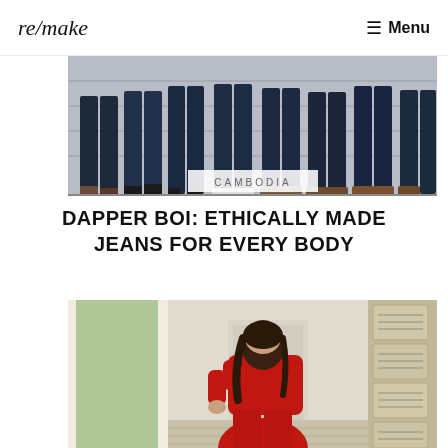re/make  ☰ Menu
[Figure (photo): Group of people from the waist down wearing dark denim jeans, standing in a row against a garage door. Various shoe styles visible including heels, sneakers, and leather shoes.]
CAMBODIA
DAPPER BOI: ETHICALLY MADE JEANS FOR EVERY BODY
[Figure (photo): Person wearing a red denim jumpsuit seated in a chair in a bright room. Cardboard boxes visible on the right side.]